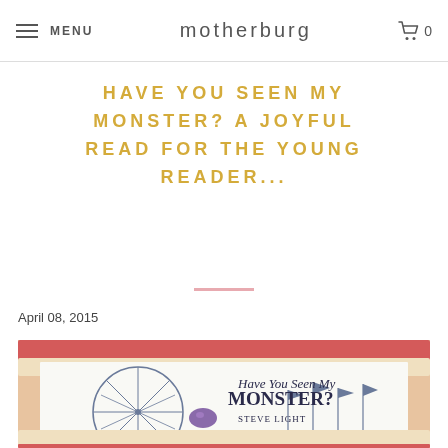MENU | motherburg | 0
HAVE YOU SEEN MY MONSTER? A JOYFUL READ FOR THE YOUNG READER...
April 08, 2015
[Figure (photo): Book cover of 'Have You Seen My Monster?' by Steve Light, showing a ferris wheel at a fairground with a small purple monster, surrounded by a decorative border of pink and cream beads/balls]